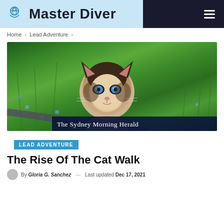Master Diver
Home > Lead Adventure >
[Figure (photo): Siamese cat with blue eyes sitting in green grass, with The Sydney Morning Herald text overlay in the lower right]
LEAD ADVENTURE
The Rise Of The Cat Walk
By Gloria G. Sanchez — Last updated Dec 17, 2021